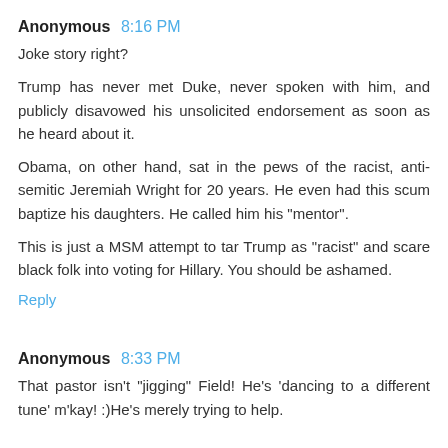Anonymous 8:16 PM
Joke story right?
Trump has never met Duke, never spoken with him, and publicly disavowed his unsolicited endorsement as soon as he heard about it.
Obama, on other hand, sat in the pews of the racist, anti-semitic Jeremiah Wright for 20 years. He even had this scum baptize his daughters. He called him his "mentor".
This is just a MSM attempt to tar Trump as "racist" and scare black folk into voting for Hillary. You should be ashamed.
Reply
Anonymous 8:33 PM
That pastor isn't "jigging" Field! He's 'dancing to a different tune' m'kay! :)He's merely trying to help.